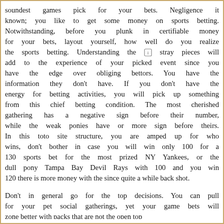soundest games pick for your bets. Negligence it known; you like to get some money on sports betting. Notwithstanding, before you plunk in certifiable money for your bets, layout yourself, how well do you realize the sports betting. Understanding the [icon] stray pieces will add to the experience of your picked event since you have the edge over obliging bettors. You have the information they don't have. If you don't have the energy for betting activities, you will pick up something from this chief betting condition. The most cherished gathering has a negative sign before their number, while the weak ponies have or more sign before theirs. In this toto site structure, you are amped up for who wins, don't bother in case you will win only 100 for a 130 sports bet for the most prized NY Yankees, or the dull pony Tampa Bay Devil Rays with 100 and you win 120 there is more money with the since quite a while back shot.
Don't in general go for the top decisions. You can pull for your pet social gatherings, yet your game bets will zone better with packs that are not the open top